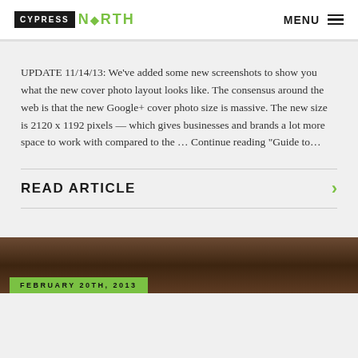CYPRESS NORTH — MENU
UPDATE 11/14/13: We've added some new screenshots to show you what the new cover photo layout looks like. The consensus around the web is that the new Google+ cover photo size is massive. The new size is 2120 x 1192 pixels — which gives businesses and brands a lot more space to work with compared to the ... Continue reading "Guide to...
READ ARTICLE
[Figure (photo): Dark wood texture background image with a green date tag showing FEBRUARY 20TH, 2013]